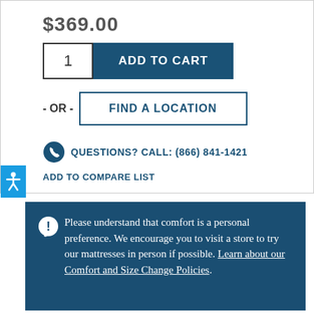$369.00
ADD TO CART
- OR - FIND A LOCATION
QUESTIONS? CALL: (866) 841-1421
ADD TO COMPARE LIST
Please understand that comfort is a personal preference. We encourage you to visit a store to try our mattresses in person if possible. Learn about our Comfort and Size Change Policies.